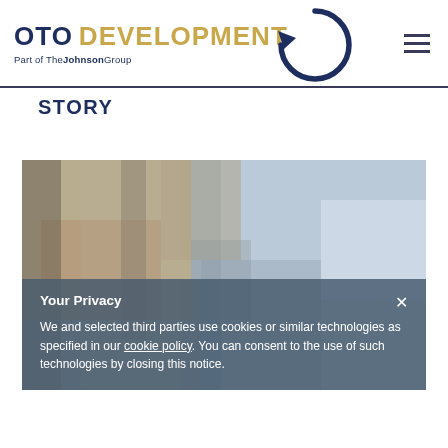[Figure (logo): OTO Development logo with circular arrow graphic and tagline 'Part of The Johnson Group']
STORY
[Figure (photo): Blurred interior architectural photo showing warm and cool tones]
Your Privacy

We and selected third parties use cookies or similar technologies as specified in our cookie policy. You can consent to the use of such technologies by closing this notice.